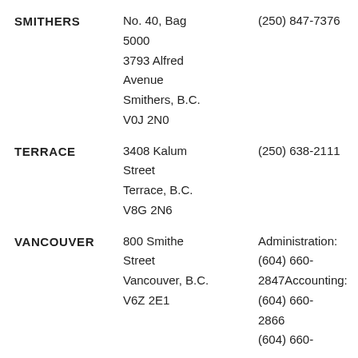| City | Address | Phone |
| --- | --- | --- |
| SMITHERS | No. 40, Bag 5000
3793 Alfred Avenue
Smithers, B.C.
V0J 2N0 | (250) 847-7376 |
| TERRACE | 3408 Kalum Street
Terrace, B.C.
V8G 2N6 | (250) 638-2111 |
| VANCOUVER | 800 Smithe Street
Vancouver, B.C.
V6Z 2E1 | Administration:
(604) 660-2847
Accounting:
(604) 660-2866
(604) 660-... |